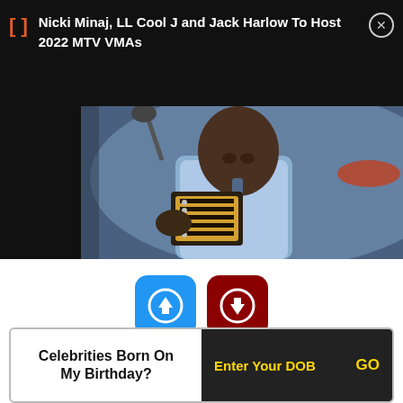Nicki Minaj, LL Cool J and Jack Harlow To Host 2022 MTV VMAs
[Figure (photo): Person playing an accordion/button accordion instrument, wearing a light blue shirt and tie, performing on stage]
[Figure (infographic): Blue upvote button with up arrow icon showing count 2, and red downvote button with down arrow icon showing count 0]
Celebrities Born On My Birthday?
Enter Your DOB
GO